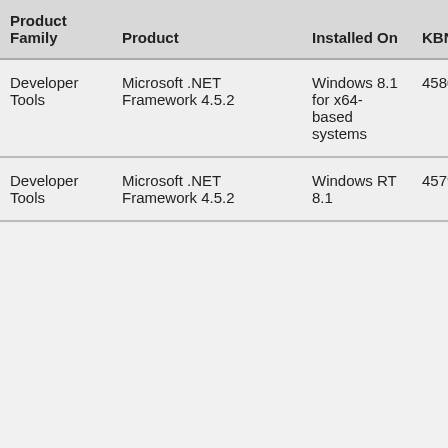| Product Family | Product | Installed On | KBNum |
| --- | --- | --- | --- |
| Developer Tools | Microsoft .NET Framework 4.5.2 | Windows 8.1 for x64-based systems | 45804 |
| Developer Tools | Microsoft .NET Framework 4.5.2 | Windows RT 8.1 | 45799 |